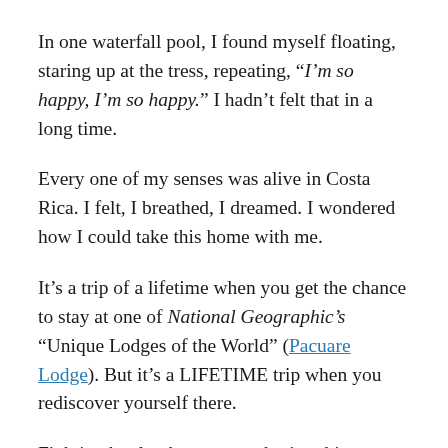In one waterfall pool, I found myself floating, staring up at the tress, repeating, “I’m so happy, I’m so happy.” I hadn’t felt that in a long time.
Every one of my senses was alive in Costa Rica. I felt, I breathed, I dreamed. I wondered how I could take this home with me.
It’s a trip of a lifetime when you get the chance to stay at one of National Geographic’s “Unique Lodges of the World” (Pacuare Lodge). But it’s a LIFETIME trip when you rediscover yourself there.
Fighting hard to keep remembering this feeling. Looking to where I’m going next…